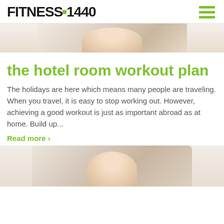FITNESS 1440
[Figure (photo): Cropped photo of a person (blonde hair visible), top portion of figure, light background]
the hotel room workout plan
The holidays are here which means many people are traveling. When you travel, it is easy to stop working out. However, achieving a good workout is just as important abroad as at home. Build up...
Read more ›
[Figure (photo): Partial photo of a person (blonde hair visible), bottom portion cropped, light background]